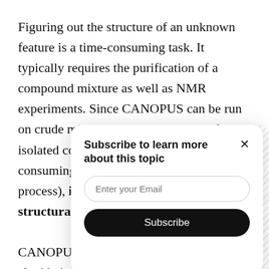Figuring out the structure of an unknown feature is a time-consuming task. It typically requires the purification of a compound mixture as well as NMR experiments. Since CANOPUS can be run on crude mixtures rather than on purified, isolated compounds (a time-consuming process), it structural e CANOPUS i elucidation b information alternate cla substructure predictions. This can be critical
[Figure (other): Subscribe modal overlay with title 'Subscribe to learn more about this topic', an email input field, and a Subscribe button. Appears over the main article text.]